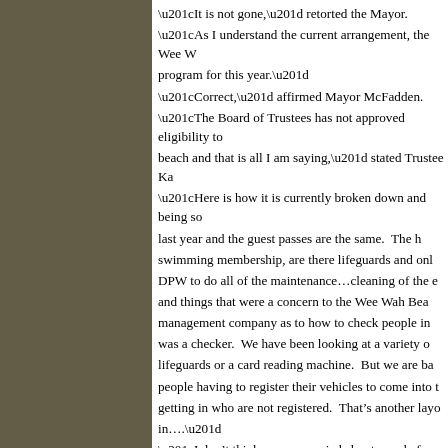“It is not gone,” retorted the Mayor.
“As I understand the current arrangement, the Wee W… program for this year.”
“Correct,” affirmed Mayor McFadden.
“The Board of Trustees has not approved eligibility to… beach and that is all I am saying,” stated Trustee Ka…
“Here is how it is currently broken down and being so… last year and the guest passes are the same. The h… swimming membership, are there lifeguards and onl… DPW to do all of the maintenance…cleaning of the e… and things that were a concern to the Wee Wah Bea… management company as to how to check people in… was a checker. We have been looking at a variety o… lifeguards or a card reading machine. But we are ba… people having to register their vehicles to come into t… getting in who are not registered. That’s another lay… in….”
“I don’t think we are worried about people from outsi… swimming,” replied Mr. Reichgott. “I think, and this is… that they don’t need to be a member to go and swim…
“Well, shame on us,” replied the Mayor. “Right now t… record. For as long as I can remember here after th… closed and the electricity was turned off. For the firs… Code, which we had to do, I decided to make an ann…